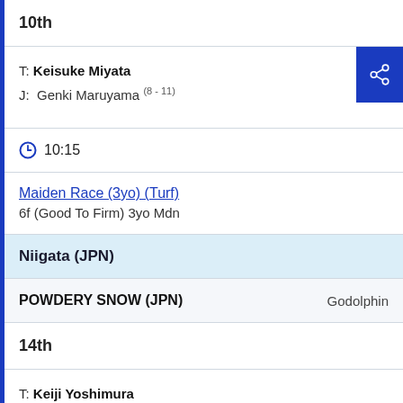10th
T: Keisuke Miyata
J: Genki Maruyama (8 - 11)
10:15
Maiden Race (3yo) (Turf)
6f (Good To Firm) 3yo Mdn
Niigata (JPN)
POWDERY SNOW (JPN)    Godolphin
14th
T: Keiji Yoshimura
J: Nanako Fujita (8 - 3)